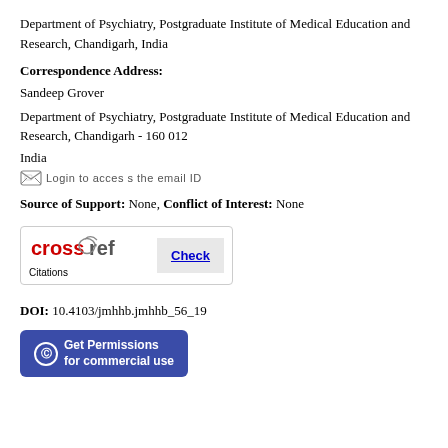Department of Psychiatry, Postgraduate Institute of Medical Education and Research, Chandigarh, India
Correspondence Address:
Sandeep Grover
Department of Psychiatry, Postgraduate Institute of Medical Education and Research, Chandigarh - 160 012
India
Login to access the email ID
Source of Support: None, Conflict of Interest: None
[Figure (logo): CrossRef Citations logo with a Check button]
DOI: 10.4103/jmhhb.jmhhb_56_19
Get Permissions for commercial use